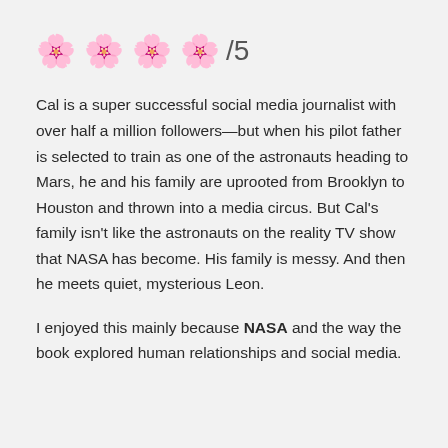🌸 🌸 🌸 🌸 /5
Cal is a super successful social media journalist with over half a million followers—but when his pilot father is selected to train as one of the astronauts heading to Mars, he and his family are uprooted from Brooklyn to Houston and thrown into a media circus. But Cal's family isn't like the astronauts on the reality TV show that NASA has become. His family is messy. And then he meets quiet, mysterious Leon.
I enjoyed this mainly because NASA and the way the book explored human relationships and social media.